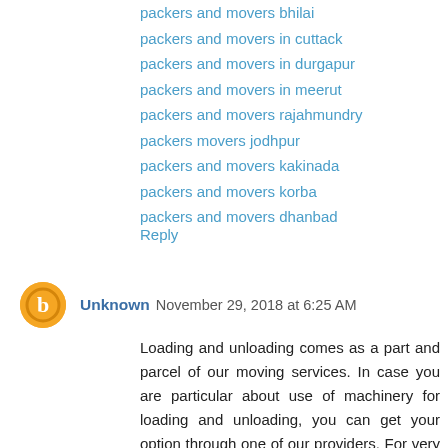packers and movers bhilai
packers and movers in cuttack
packers and movers in durgapur
packers and movers in meerut
packers and movers rajahmundry
packers movers jodhpur
packers and movers kakinada
packers and movers korba
packers and movers dhanbad
Reply
Unknown November 29, 2018 at 6:25 AM
Loading and unloading comes as a part and parcel of our moving services. In case you are particular about use of machinery for loading and unloading, you can get your option through one of our providers. For very professional and fully managed relocations, opt for our VManage Premium package.
READ MORE
packers and movers coimbatore